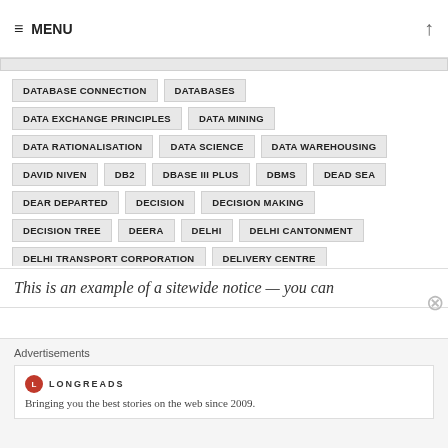≡ MENU
DATABASE CONNECTION
DATABASES
DATA EXCHANGE PRINCIPLES
DATA MINING
DATA RATIONALISATION
DATA SCIENCE
DATA WAREHOUSING
DAVID NIVEN
DB2
DBASE III PLUS
DBMS
DEAD SEA
DEAR DEPARTED
DECISION
DECISION MAKING
DECISION TREE
DEERA
DELHI
DELHI CANTONMENT
DELHI TRANSPORT CORPORATION
DELIVERY CENTRE
DENNIS RITCHIE
DEPARTMENT MANAGEMENT
DEPARTMENT OF TELECOMMUNICATION
DESIGN
DEVADERLANDSCHE
DEVELOPMENT
DEVELOPMENT UNIT
This is an example of a sitewide notice — you can
Advertisements
LONGREADS
Bringing you the best stories on the web since 2009.